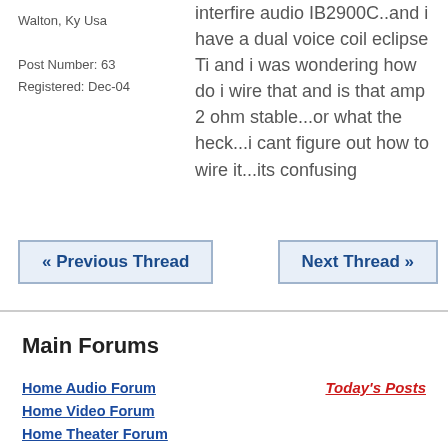Walton, Ky Usa

Post Number: 63
Registered: Dec-04
interfire audio IB2900C..and i have a dual voice coil eclipse Ti and i was wondering how do i wire that and is that amp 2 ohm stable...or what the heck...i cant figure out how to wire it...its confusing
« Previous Thread
Next Thread »
Main Forums
Home Audio Forum
Home Video Forum
Home Theater Forum
Car Audio Forum
Car Accessories Forum
Car Amplifiers Forum
Today's Posts